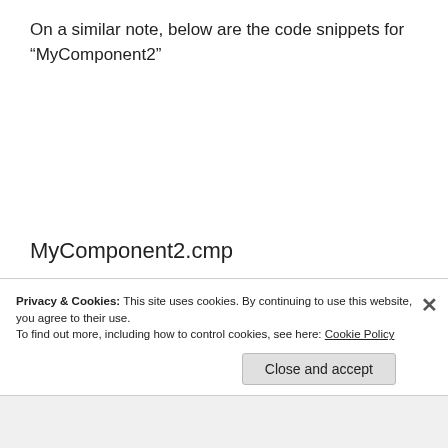On a similar note, below are the code snippets for “MyComponent2”
MyComponent2.cmp
[Figure (screenshot): Code block showing lines 1-4 of MyComponent2.cmp. Line 1: <aura:component implements="force, Line 2: <pre>, Line 3: Hi there ! You have landed in Com, Line 4: (empty). A green vertical bar separates line numbers from code.]
Privacy & Cookies: This site uses cookies. By continuing to use this website, you agree to their use.
To find out more, including how to control cookies, see here: Cookie Policy
Close and accept